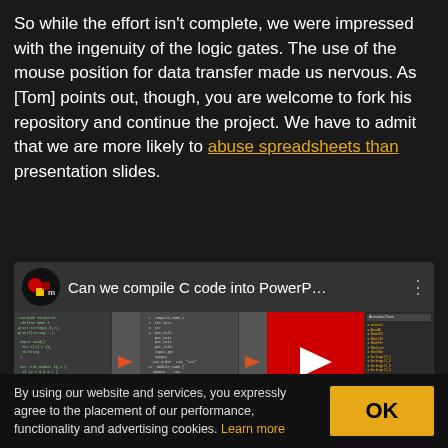So while the effort isn't complete, we were impressed with the ingenuity of the logic gates. The use of the mouse position for data transfer made us nervous. As [Tom] points out, though, you are welcome to fork his repository and continue the project. We have to admit that we are more likely to abuse spreadsheets than presentation slides.
[Figure (screenshot): YouTube video thumbnail/embed: 'Can we compile C code into PowerP...' with logo icon showing colored shapes on black circle, three-panel video preview with code screenshots and red play button arrows]
By using our website and services, you expressly agree to the placement of our performance, functionality and advertising cookies. Learn more